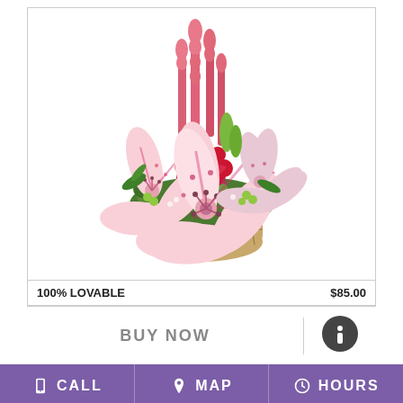[Figure (photo): A floral arrangement in a wicker basket featuring pink stargazer lilies, red roses, pink snapdragons, and green filler flowers.]
100% LOVABLE
$85.00
BUY NOW
[Figure (infographic): Info icon - dark circle with lowercase i]
CALL   MAP   HOURS